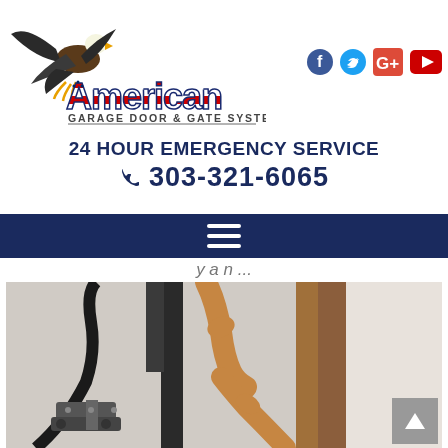[Figure (logo): American Garage Door & Gate Systems logo with eagle and American flag styled text]
[Figure (infographic): Social media icons: Facebook (blue f), Twitter (blue bird), Google+ (red G+), YouTube (red play button)]
24 HOUR EMERGENCY SERVICE
303-321-6065
[Figure (infographic): Dark navy navigation bar with hamburger menu icon (three white horizontal lines)]
y a n ...
[Figure (photo): A technician's hands working on garage door hardware - installing or repairing a garage door track/bracket mechanism]